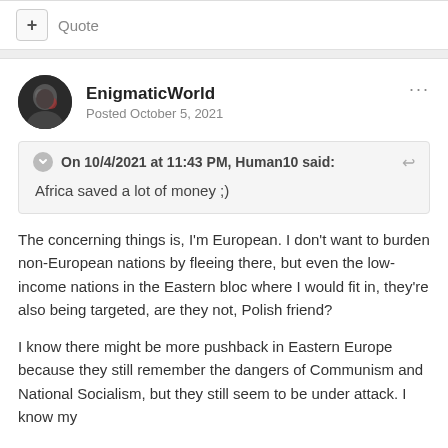+ Quote
EnigmaticWorld
Posted October 5, 2021
On 10/4/2021 at 11:43 PM, Human10 said:
Africa saved a lot of money ;)
The concerning things is, I'm European. I don't want to burden non-European nations by fleeing there, but even the low-income nations in the Eastern bloc where I would fit in, they're also being targeted, are they not, Polish friend?
I know there might be more pushback in Eastern Europe because they still remember the dangers of Communism and National Socialism, but they still seem to be under attack. I know my